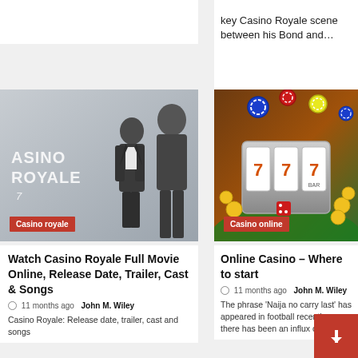key Casino Royale scene between his Bond and…
[Figure (photo): Casino Royale movie poster with a man in a suit, label 'Casino royale']
[Figure (photo): Casino online image showing slot machine with 777 and scattered casino chips, label 'Casino online']
Watch Casino Royale Full Movie Online, Release Date, Trailer, Cast & Songs
11 months ago John M. Wiley
Casino Royale: Release date, trailer, cast and songs
Online Casino – Where to start
11 months ago John M. Wiley
The phrase 'Naija no carry last' has appeared in football recently as there has been an influx of